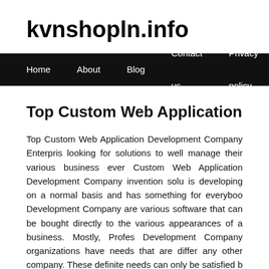kvnshopln.info
Home  About  Blog  Contact us  Privacy policy
Top Custom Web Application Development Company
Top Custom Web Application Development Company Enterprises looking for solutions to well manage their various business even Custom Web Application Development Company invention solu is developing on a normal basis and has something for everybod Development Company are various software that can be bought directly to the various appearances of a business. Mostly, Profes Development Company organizations have needs that are differ any other company. These definite needs can only be satisfied b development. Organizations can take support of any web applic their custom solutions and improve their business processes.